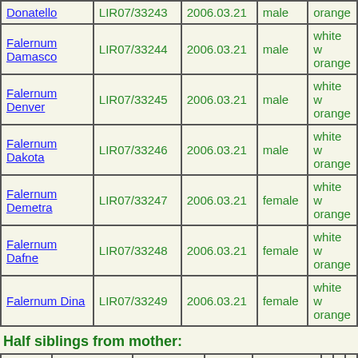| Name | ID | Date | Sex | Color |
| --- | --- | --- | --- | --- |
| Donatello | LIR07/33243 | 2006.03.21 | male | orange |
| Falernum Damasco | LIR07/33244 | 2006.03.21 | male | white w orange |
| Falernum Denver | LIR07/33245 | 2006.03.21 | male | white w orange |
| Falernum Dakota | LIR07/33246 | 2006.03.21 | male | white w orange |
| Falernum Demetra | LIR07/33247 | 2006.03.21 | female | white w orange |
| Falernum Dafne | LIR07/33248 | 2006.03.21 | female | white w orange |
| Falernum Dina | LIR07/33249 | 2006.03.21 | female | white w orange |
Half siblings from mother:
| Name | ID | Date | Sex | Color |
| --- | --- | --- | --- | --- |
| Luna (Sanna) | LIR03/26492 | 2002.05.26 | female | white with orange |
| Linda (Sanna) | LIR03/26493 | 2002.05.26 | female | white with orange |
| Laser (Sanna) | LIR03/26494 | 2002.05.26 | male | brownroan |